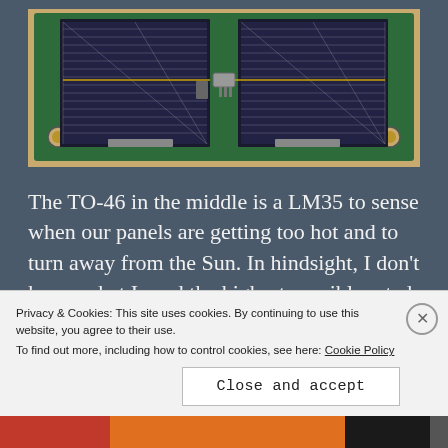[Figure (photo): Photograph of a green PCB (printed circuit board) with two solar panel cells and a TO-46 metal can component (LM35 temperature sensor) visible in the middle. The board has mounting holes at corners and is placed on a wooden surface.]
The TO-46 in the middle is a LM35 to sense when our panels are getting too hot and to turn away from the Sun. In hindsight, I don't know what I used the highest possible rated sensors I could find, 150°C, and used a metal can to tie to ground to try and protect from the radiation, but a thermocouple on the opposite side, probably would have been a
Privacy & Cookies: This site uses cookies. By continuing to use this website, you agree to their use.
To find out more, including how to control cookies, see here: Cookie Policy
Close and accept